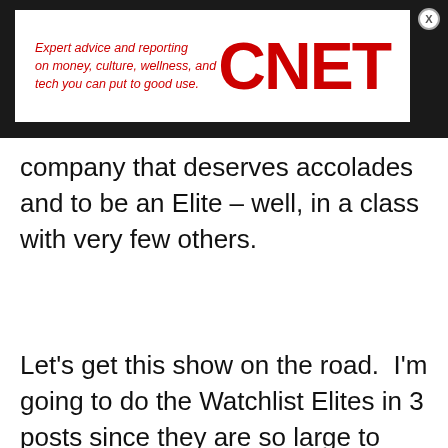[Figure (screenshot): CNET advertisement banner with italic red text 'Expert advice and reporting on money, culture, wellness, and tech you can put to good use.' and large red CNET logo on white background, set against a dark/black background bar with a close (X) button in top right corner.]
company that deserves accolades and to be an Elite – well, in a class with very few others.
Let’s get this show on the road.  I’m going to do the Watchlist Elites in 3 posts since they are so large to begin with.  First up, will be the Elite Generalists –